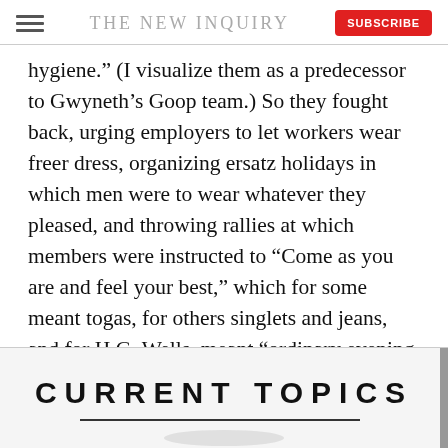THE NEW INQUIRY
hygiene.” (I visualize them as a predecessor to Gwyneth’s Goop team.) So they fought back, urging employers to let workers wear freer dress, organizing ersatz holidays in which men were to wear whatever they pleased, and throwing rallies at which members were instructed to “Come as you are and feel your best,” which for some meant togas, for others singlets and jeans, and for H.G. Wells, meant “ordinary evening dress.”
[Figure (other): Partial image showing 'CURRENT TOPICS' text header with what appears to be the top of a book or publication cover, cropped at the bottom of the page.]